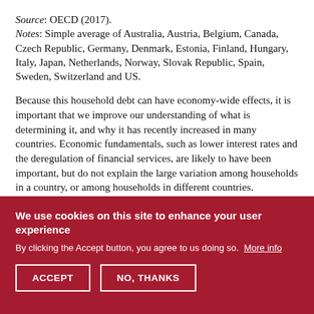Source: OECD (2017). Notes: Simple average of Australia, Austria, Belgium, Canada, Czech Republic, Germany, Denmark, Estonia, Finland, Hungary, Italy, Japan, Netherlands, Norway, Slovak Republic, Spain, Sweden, Switzerland and US.
Because this household debt can have economy-wide effects, it is important that we improve our understanding of what is determining it, and why it has recently increased in many countries. Economic fundamentals, such as lower interest rates and the deregulation of financial services, are likely to have been important, but do not explain the large variation among households in a country, or among households in different countries.
We use cookies on this site to enhance your user experience By clicking the Accept button, you agree to us doing so. More info ACCEPT NO, THANKS